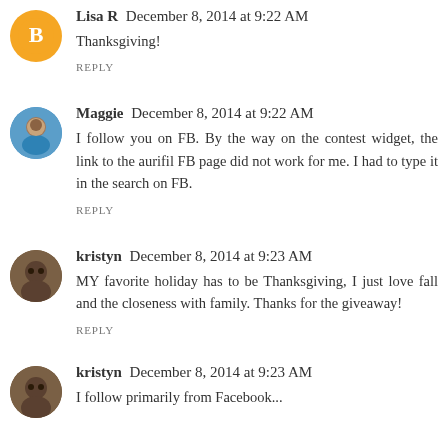Lisa R  December 8, 2014 at 9:22 AM
Thanksgiving!
REPLY
Maggie  December 8, 2014 at 9:22 AM
I follow you on FB. By the way on the contest widget, the link to the aurifil FB page did not work for me. I had to type it in the search on FB.
REPLY
kristyn  December 8, 2014 at 9:23 AM
MY favorite holiday has to be Thanksgiving, I just love fall and the closeness with family. Thanks for the giveaway!
REPLY
kristyn  December 8, 2014 at 9:23 AM
I follow primarily from Facebook...